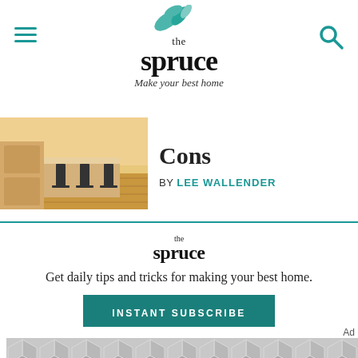[Figure (logo): The Spruce logo with leaf decoration and tagline 'Make your best home']
[Figure (photo): Kitchen interior with light wood cabinets and bar stools]
Cons
By LEE WALLENDER
[Figure (logo): The Spruce logo (smaller version)]
Get daily tips and tricks for making your best home.
INSTANT SUBSCRIBE
Ad
[Figure (illustration): Gray geometric hexagon/cube pattern advertisement placeholder]